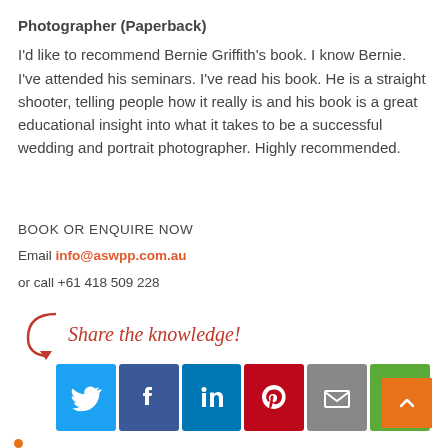Photographer (Paperback)
I'd like to recommend Bernie Griffith's book. I know Bernie. I've attended his seminars. I've read his book. He is a straight shooter, telling people how it really is and his book is a great educational insight into what it takes to be a successful wedding and portrait photographer. Highly recommended.
BOOK OR ENQUIRE NOW
Email info@aswpp.com.au
or call +61 418 509 228
[Figure (infographic): Share the knowledge! text with red arrow and six social media icon buttons: Twitter (blue bird), Facebook (blue f), LinkedIn (blue in), Pinterest (red P), Email (grey envelope), More (green recycle-like icon)]